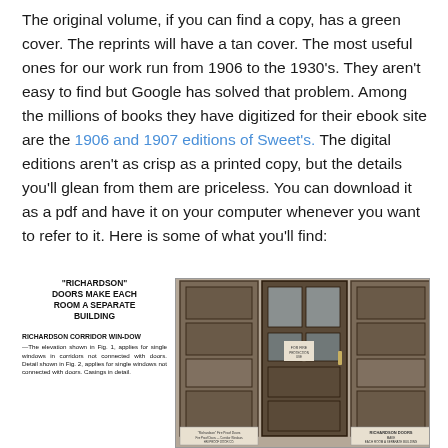The original volume, if you can find a copy, has a green cover. The reprints will have a tan cover. The most useful ones for our work run from 1906 to the 1930's. They aren't easy to find but Google has solved that problem. Among the millions of books they have digitized for their ebook site are the 1906 and 1907 editions of Sweet's. The digital editions aren't as crisp as a printed copy, but the details you'll glean from them are priceless. You can download it as a pdf and have it on your computer whenever you want to refer to it. Here is some of what you'll find:
[Figure (photo): Vintage advertisement page from Sweet's catalog showing Richardson doors. Left side has text: '"RICHARDSON" DOORS MAKE EACH ROOM A SEPARATE BUILDING' and below it 'RICHARDSON CORRIDOR WINDOW—The elevation shown in Fig. 1, applies for single windows in corridors not connected with doors. Detail shown in Fig. 2, applies for single windows not connected with doors. Casings in detail.' Right side shows a black and white photograph of wooden Richardson fire-proof doors with multiple panels and glass sections, with caption 'Richardson Fire Proof Doors' and 'RICHARDSON DOORS EACH ROOM A SEPARATE BUILDING'.]